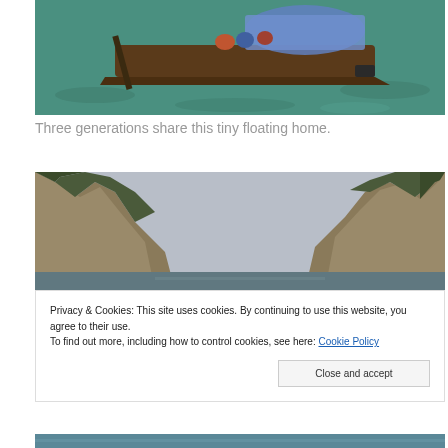[Figure (photo): Aerial/overhead view of a wooden boat with people on green water, showing three generations living on the boat.]
Three generations share this tiny floating home.
[Figure (photo): Karst limestone mountains rising on both sides with a waterway channel in between, overcast sky.]
Privacy & Cookies: This site uses cookies. By continuing to use this website, you agree to their use.
To find out more, including how to control cookies, see here: Cookie Policy
[Figure (photo): Water surface at bottom of page, partial strip view.]